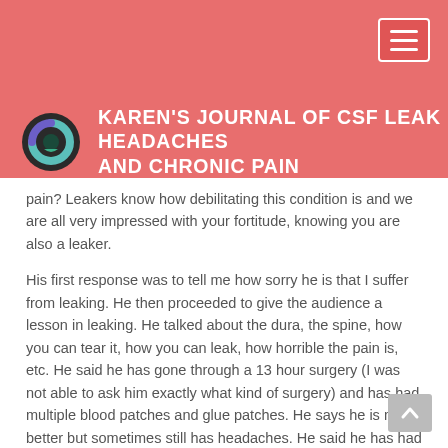KAREN'S JOURNAL OF CSF LEAK HEADACHES AND CHRONIC PAIN
pain? Leakers know how debilitating this condition is and we are all very impressed with your fortitude, knowing you are also a leaker.
His first response was to tell me how sorry he is that I suffer from leaking. He then proceeded to give the audience a lesson in leaking. He talked about the dura, the spine, how you can tear it, how you can leak, how horrible the pain is, etc. He said he has gone through a 13 hour surgery (I was not able to ask him exactly what kind of surgery) and has had multiple blood patches and glue patches. He says he is much better but sometimes still has headaches. He said he has had to adjust to this new reality of life with chronic pain. He said it is not as severe as it was but occasionally he has to go in for more patches. He expressed sympathy for anyone suffering with it. He ended as he started, telling me